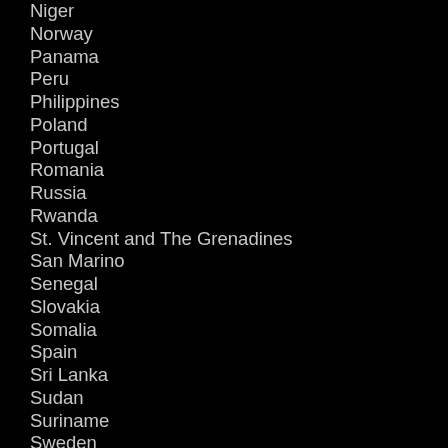Niger
Norway
Panama
Peru
Philippines
Poland
Portugal
Romania
Russia
Rwanda
St. Vincent and The Grenadines
San Marino
Senegal
Slovakia
Somalia
Spain
Sri Lanka
Sudan
Suriname
Sweden
Syria
Tanzania
Togo
Trinidad and Tobago
Tunisia